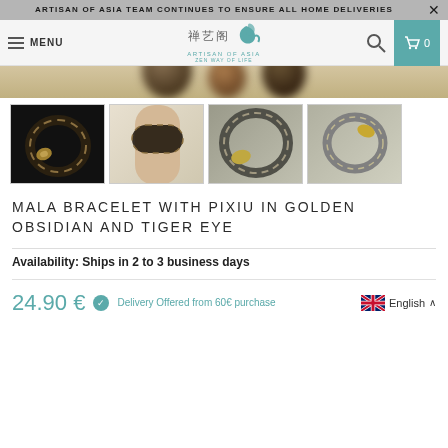ARTISAN OF ASIA TEAM CONTINUES TO ENSURE ALL HOME DELIVERIES
[Figure (screenshot): Website navigation bar with menu, Artisan of Asia logo, search icon, and cart showing 0 items]
[Figure (photo): Blurred hero product images of dark beaded bracelets]
[Figure (photo): Four product thumbnail images of Mala bracelet with Pixiu in golden obsidian and tiger eye]
MALA BRACELET WITH PIXIU IN GOLDEN OBSIDIAN AND TIGER EYE
Availability: Ships in 2 to 3 business days
24.90 €  Delivery Offered from 60€ purchase